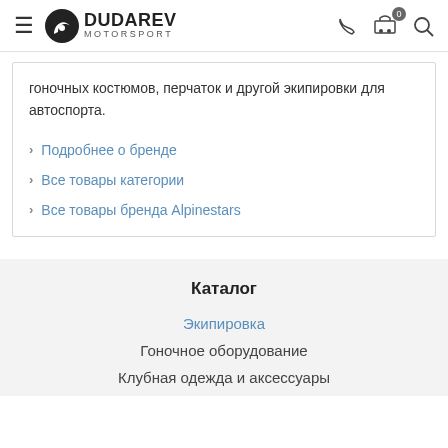DUDAREV MOTORSPORT — header navigation
гоночных костюмов, перчаток и другой экипировки для автоспорта.
> Подробнее о бренде
> Все товары категории
> Все товары бренда Alpinestars
Каталог
Экипировка
Гоночное оборудование
Клубная одежда и аксессуары